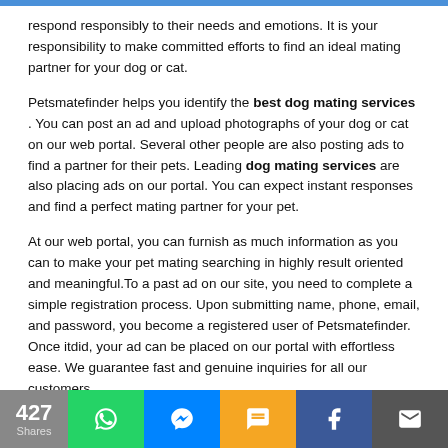respond responsibly to their needs and emotions. It is your responsibility to make committed efforts to find an ideal mating partner for your dog or cat.
Petsmatefinder helps you identify the best dog mating services . You can post an ad and upload photographs of your dog or cat on our web portal. Several other people are also posting ads to find a partner for their pets. Leading dog mating services are also placing ads on our portal. You can expect instant responses and find a perfect mating partner for your pet.
At our web portal, you can furnish as much information as you can to make your pet mating searching in highly result oriented and meaningful.To a past ad on our site, you need to complete a simple registration process. Upon submitting name, phone, email, and password, you become a registered user of Petsmatefinder. Once itdid, your ad can be placed on our portal with effortless ease. We guarantee fast and genuine inquiries for all our customers.
If you are worried about finding dog mating services , you can contact us. Our portal helps you to find a perfect mating partner in a
427 Shares